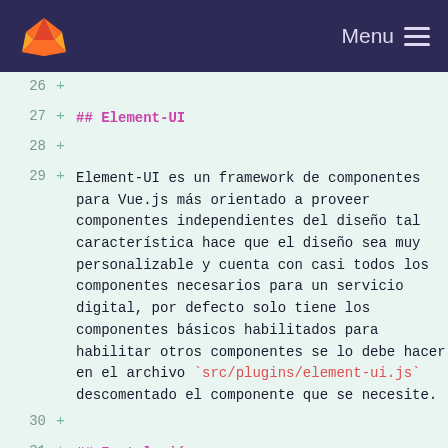Menu
26  +
27  + ## Element-UI
28  +
29  + Element-UI es un framework de componentes para Vue.js más orientado a proveer componentes independientes del diseño tal característica hace que el diseño sea muy personalizable y cuenta con casi todos los componentes necesarios para un servicio digital, por defecto solo tiene los componentes básicos habilitados para habilitar otros componentes se lo debe hacer en el archivo `src/plugins/element-ui.js` descomentado el componente que se necesite.
30  +
31  + ## Instalación